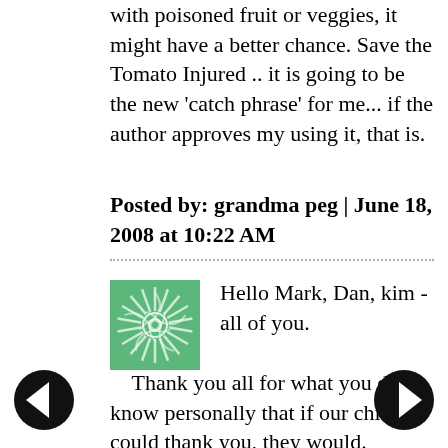with poisoned fruit or veggies, it might have a better chance. Save the Tomato Injured .. it is going to be the new 'catch phrase' for me... if the author approves my using it, that is.
Posted by: grandma peg | June 18, 2008 at 10:22 AM
[Figure (illustration): Green decorative avatar icon with swirl pattern]
Hello Mark, Dan, kim - all of you.

Thank you all for what you do. I know personally that if our children could thank you, they would.

I am a parent pleading my case in vaccine court on behalf of my son. I spoke to the partner of the firm handling our case, he made the comment to me that this is very politically driven and he was concerned.